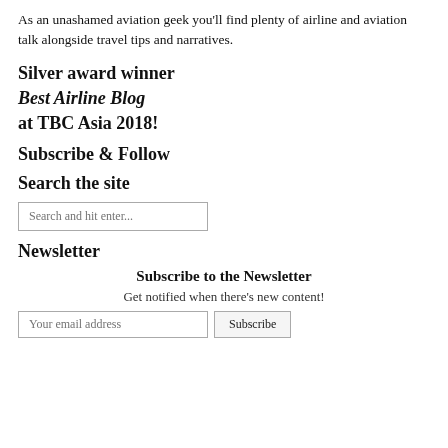As an unashamed aviation geek you'll find plenty of airline and aviation talk alongside travel tips and narratives.
Silver award winner
Best Airline Blog
at TBC Asia 2018!
Subscribe & Follow
Search the site
Search and hit enter...
Newsletter
Subscribe to the Newsletter
Get notified when there's new content!
Your email address  Subscribe